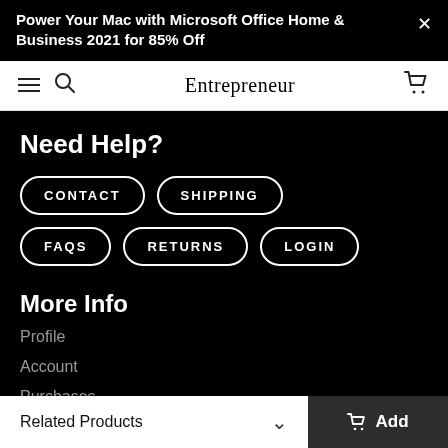Power Your Mac with Microsoft Office Home & Business 2021 for 85% Off
Entrepreneur
Need Help?
CONTACT
SHIPPING
FAQS
RETURNS
LOGIN
More Info
Profile
Account
Purchases
Credits
Preferences
Related Products  Add